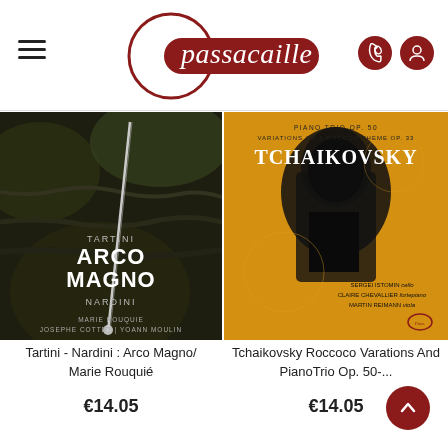[Figure (logo): Passacaille music store logo with circular outline and dark red pill shape behind the wordmark, plus hamburger menu, phone icon, and user icon in header]
[Figure (photo): Album cover: Tartini Arco Magno Nardini - dark photo of violin bow on tree bark, with text MARIE ROUQUIE, JOSEPHE COTTET, YOANN MOULIN]
Tartini - Nardini : Arco Magno/ Marie Rouquié
€14.05
[Figure (photo): Album cover: Tchaikovsky Piano Trio Op. 50 / Variations on a Rococo Theme Op. 33 - orange and black silhouette art, featuring SERGEI ISTOMIN, CLAIRE CHEVALLIER, MARTIN REIMANN]
Tchaikovsky Roccoco Varations And PianoTrio Op. 50-...
€14.05